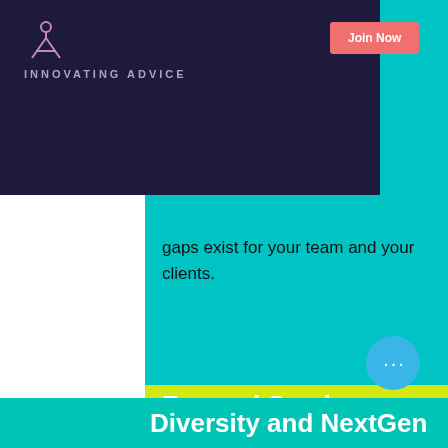INNOVATING ADVICE
of financial that rates, re gaps exist for your team and your clients.
Fee and Service Models
Between regulatory and technological changes, the world is increasingly evolving beyond just commissions and AUM fees. And clear service tiers, a coaching-centric approach and scalable and repeatable processes help maintain quality and maximize profitability.
Diversity and NextGen